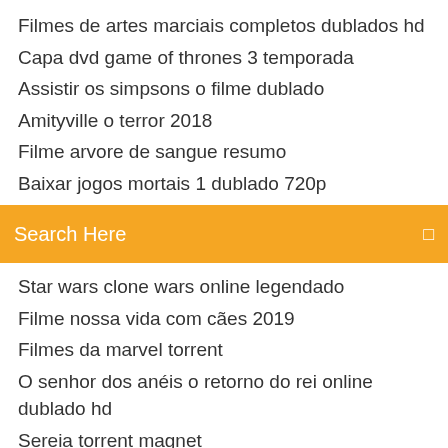Filmes de artes marciais completos dublados hd
Capa dvd game of thrones 3 temporada
Assistir os simpsons o filme dublado
Amityville o terror 2018
Filme arvore de sangue resumo
Baixar jogos mortais 1 dublado 720p
Search Here
Star wars clone wars online legendado
Filme nossa vida com cães 2019
Filmes da marvel torrent
O senhor dos anéis o retorno do rei online dublado hd
Sereia torrent magnet
Filme interestelar para download
Penny dreadful 2 temporada legendado download
Um gladiador em apuros filme completo em português
Soul surfer filme completo dublado online
Ready or not - o ritual
Não é possível determinar o conteúdo